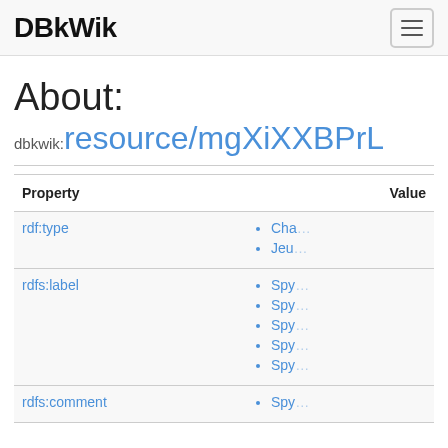DBkWik
About:
dbkwik:resource/mgXiXXBPrL
| Property | Value |
| --- | --- |
| rdf:type | • Cha...
• Jeu... |
| rdfs:label | • Spy...
• Spy...
• Spy...
• Spy...
• Spy... |
| rdfs:comment | • Spy... |